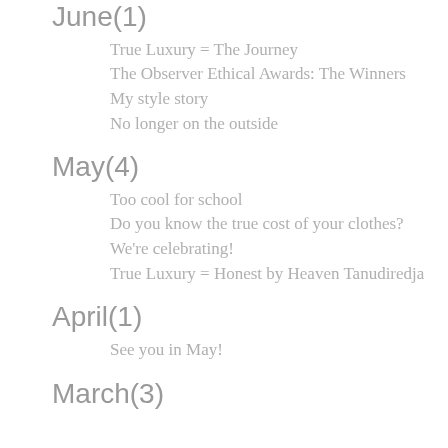June(1)
True Luxury = The Journey
The Observer Ethical Awards: The Winners
My style story
No longer on the outside
May(4)
Too cool for school
Do you know the true cost of your clothes?
We're celebrating!
True Luxury = Honest by Heaven Tanudiredja
April(1)
See you in May!
March(3)